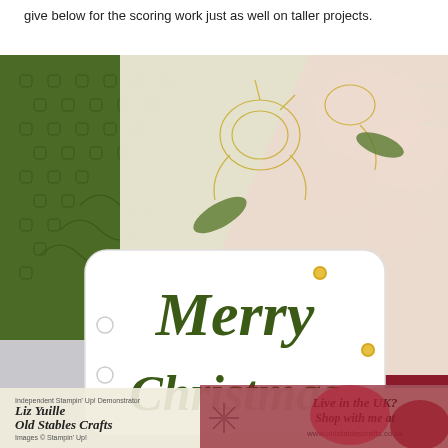give below for the scoring work just as well on taller projects.
[Figure (photo): Close-up photo of a handmade Christmas craft project featuring a white label/tag stamped with 'Merry Christmas' in dark olive green script, overlaid on patterned papers with floral designs in red and green and a dark green decorative patterned paper. A watermark at the bottom reads: Independent Stampin' Up! Demonstrator / Liz Yuille / Old Stables Crafts / Images © Stampin' Up! / Live in the UK? / Shop with me at / www.oldstablescrafts.co.uk]